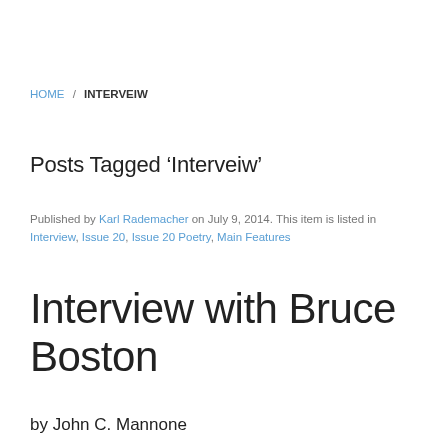HOME / INTERVEIW
Posts Tagged ‘Interveiw’
Published by Karl Rademacher on July 9, 2014. This item is listed in Interview, Issue 20, Issue 20 Poetry, Main Features
Interview with Bruce Boston
by John C. Mannone